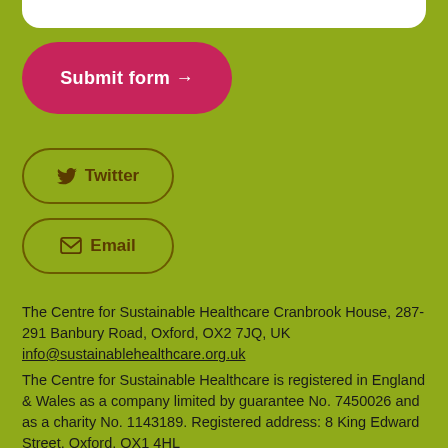[Figure (other): Submit form button - red/pink rounded pill button with white bold text 'Submit form →']
[Figure (other): Twitter social media button - outlined rounded pill with bird icon and bold text 'Twitter']
[Figure (other): Email contact button - outlined rounded pill with envelope icon and bold text 'Email']
The Centre for Sustainable Healthcare Cranbrook House, 287-291 Banbury Road, Oxford, OX2 7JQ, UK
info@sustainablehealthcare.org.uk
The Centre for Sustainable Healthcare is registered in England & Wales as a company limited by guarantee No. 7450026 and as a charity No. 1143189. Registered address: 8 King Edward Street, Oxford, OX1 4HL